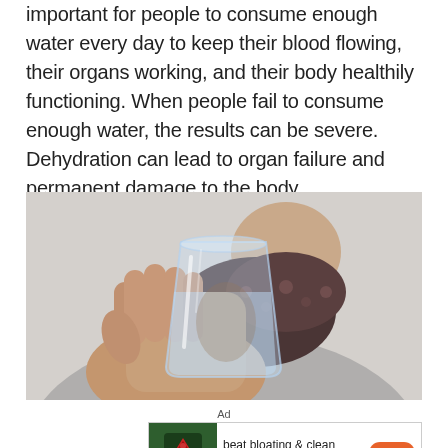important for people to consume enough water every day to keep their blood flowing, their organs working, and their body healthily functioning. When people fail to consume enough water, the results can be severe. Dehydration can lead to organ failure and permanent damage to the body.
[Figure (photo): A person holding a clear glass of water toward the camera, wearing a grey sweater and dark floral scarf, photographed against a light grey background.]
Ad
[Figure (other): Advertisement banner for a supplement product. Shows a green jar labeled MORNING COMPLETE with a red logo, text reading 'beat bloating & clean gut in just 1 scoop.*', and an orange 'shop' button. An X close button appears at the top right.]